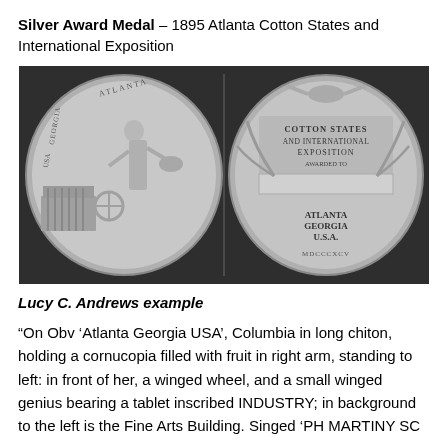Silver Award Medal – 1895 Atlanta Cotton States and International Exposition
[Figure (photo): Two sides of a silver award medal. Left side (obverse): shows Columbia figure in long chiton holding cornucopia, standing to left, with winged wheel and Fine Arts Building in background, text 'ATLANTA GEORGIA USA'. Right side (reverse): shows eagle at top, text 'COTTON STATES AND INTERNATIONAL EXPOSITION AWARDED TO', a blank bar, 'ATLANTA GEORGIA U.S.A.' and 'MDCCCXCV' at bottom, with palm fronds and floral decoration.]
Lucy C. Andrews example
“On Obv ‘Atlanta Georgia USA’, Columbia in long chiton, holding a cornucopia filled with fruit in right arm, standing to left: in front of her, a winged wheel, and a small winged genius bearing a tablet inscribed INDUSTRY; in background to the left is the Fine Arts Building. Singed ‘PH MARTINY SC